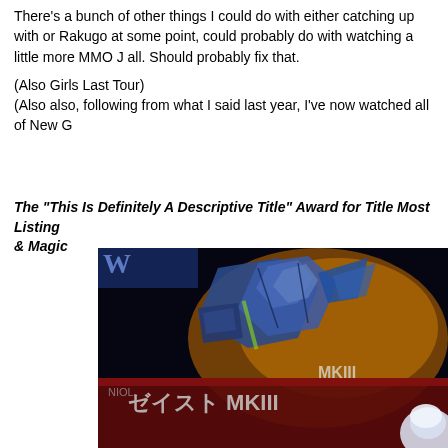There's a bunch of other things I could do with either catching up with or Rakugo at some point, could probably do with watching a little more MMO J all. Should probably fix that.

(Also Girls Last Tour)
(Also also, following from what I said last year, I've now watched all of New G
The “This Is Definitely A Descriptive Title” Award for Title Most Listing & Magic
[Figure (illustration): Anime-style illustration showing a mecha/robot figure from what appears to be a Gundam series, with colorful box art showing 'MKIII' text and other Japanese characters on packaging. A white-haired character is visible in the bottom right corner.]